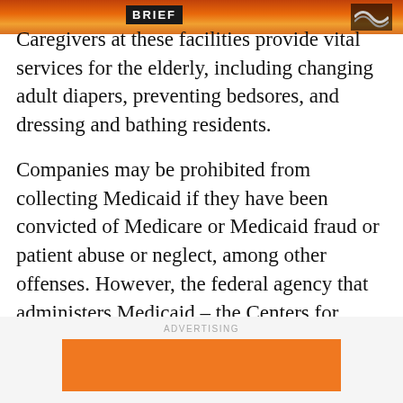[Figure (illustration): Newspaper or news website header bar with orange/sunset cityscape background, a 'BRIEF' label in black box, and a logo on the right]
Caregivers at these facilities provide vital services for the elderly, including changing adult diapers, preventing bedsores, and dressing and bathing residents.
Companies may be prohibited from collecting Medicaid if they have been convicted of Medicare or Medicaid fraud or patient abuse or neglect, among other offenses. However, the federal agency that administers Medicaid – the Centers for Medicare & Medicaid Services – does not police whether senior care-home operators comply with wage and hour laws.
[Figure (other): Advertising banner area with orange rectangle advertisement below an 'ADVERTISING' label]